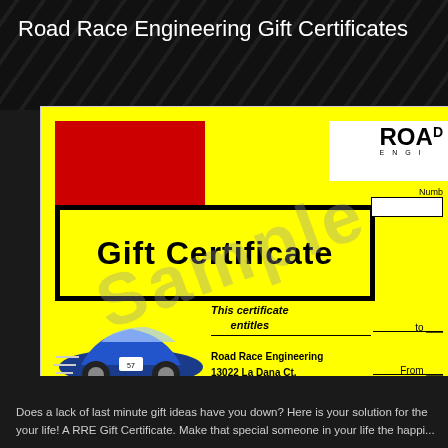Road Race Engineering Gift Certificates
[Figure (illustration): Sample gift certificate from Road Race Engineering showing yellow background with red accent block, 'Gift Certificate' title in black bold text, address (Road Race Engineering, 13022 La Dana Ct., Santa Fe Springs, CA. 90670), a blue race car image on the lower left, 'Sample' watermark diagonally across the certificate, and website URL www.roadraceengi...]
Does a lack of last minute gift ideas have you down? Here is your solution for the your life! A RRE Gift Certificate. Make that special someone in your life the happi...